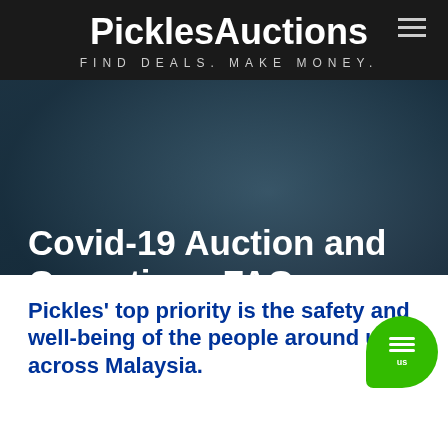PicklesAuctions — FIND DEALS. MAKE MONEY.
Covid-19 Auction and Operations FAQ
Online only auctions until March 31st.
Pickles' top priority is the safety and well-being of the people around us across Malaysia.